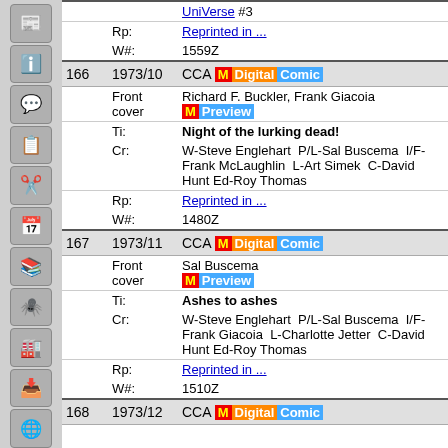| # | Date/Label | Content | Price/Pg |
| --- | --- | --- | --- |
|  | Rp: | Reprinted in ... |  |
|  | W#: | 1559Z |  |
| 166 | 1973/10 | CCA M Digital Comic | $0.20 |
|  | Front cover | Richard F. Buckler, Frank Giacoia [M Preview] | 1 |
|  | Ti: | Night of the lurking dead! | 19 |
|  | Cr: | W-Steve Englehart  P/L-Sal Buscema  I/F-Frank McLaughlin  L-Art Simek  C-David Hunt  Ed-Roy Thomas |  |
|  | Rp: | Reprinted in ... |  |
|  | W#: | 1480Z |  |
| 167 | 1973/11 | CCA M Digital Comic | $0.20 |
|  | Front cover | Sal Buscema [M Preview] | 1 |
|  | Ti: | Ashes to ashes | 19 |
|  | Cr: | W-Steve Englehart  P/L-Sal Buscema  I/F-Frank Giacoia  L-Charlotte Jetter  C-David Hunt  Ed-Roy Thomas |  |
|  | Rp: | Reprinted in ... |  |
|  | W#: | 1510Z |  |
| 168 | 1973/12 | CCA M Digital Comic | $0.20 |